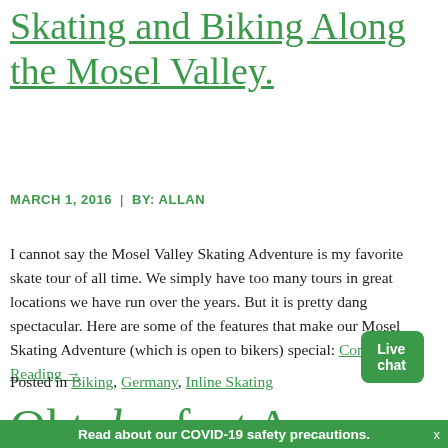Skating and Biking Along the Mosel Valley
MARCH 1, 2016 | BY: ALLAN
I cannot say the Mosel Valley Skating Adventure is my favorite skate tour of all time. We simply have too many tours in great locations we have run over the years. But it is pretty dang spectacular. Here are some of the features that make our Mosel Skating Adventure (which is open to bikers) special: Continue Reading →
Posted in Biking, Germany, Inline Skating
Oktoberfest...
Read about our COVID-19 safety precautions.